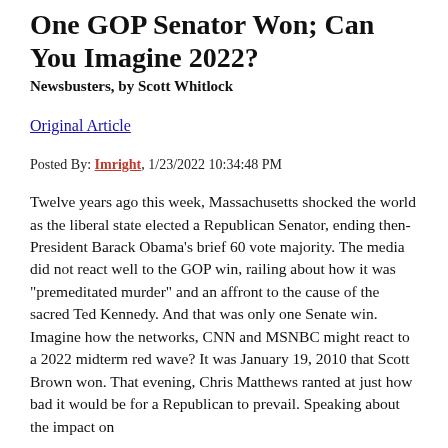One GOP Senator Won; Can You Imagine 2022?
Newsbusters, by Scott Whitlock
Original Article
Posted By: Imright, 1/23/2022 10:34:48 PM
Twelve years ago this week, Massachusetts shocked the world as the liberal state elected a Republican Senator, ending then-President Barack Obama’s brief 60 vote majority. The media did not react well to the GOP win, railing about how it was “premeditated murder” and an affront to the cause of the sacred Ted Kennedy. And that was only one Senate win. Imagine how the networks, CNN and MSNBC might react to a 2022 midterm red wave? It was January 19, 2010 that Scott Brown won. That evening, Chris Matthews ranted at just how bad it would be for a Republican to prevail. Speaking about the impact on